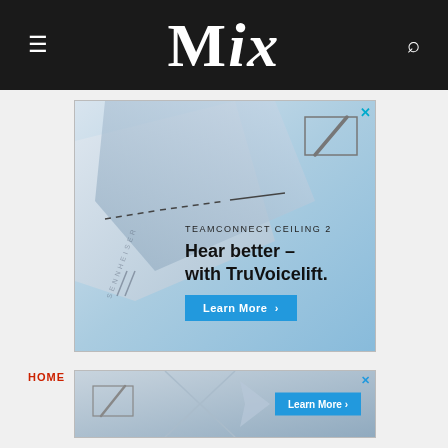MIX
[Figure (illustration): Sennheiser TeamConnect Ceiling 2 advertisement. Background shows a close-up of a ceiling microphone product with geometric silver/grey panels and light blue gradient. Sennheiser slash logo in top right corner. Text reads: TEAMCONNECT CEILING 2 / Hear better – with TruVoicelift. / Learn More button.]
HOME > TECHNOLOGY
[Figure (illustration): Sennheiser banner ad strip. Shows product geometric shapes with cross pattern and slash logo on left. Learn More button on right on blue background.]